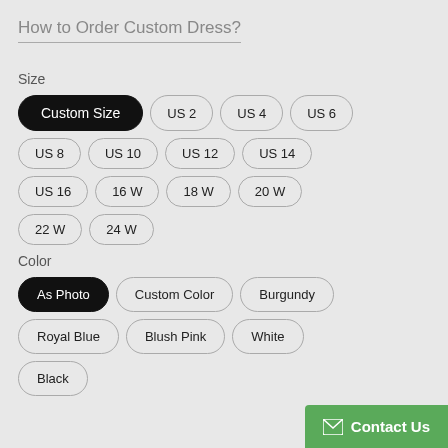How to Order Custom Dress?
Size
Custom Size (selected), US 2, US 4, US 6
US 8, US 10, US 12, US 14
US 16, 16 W, 18 W, 20 W
22 W, 24 W
Color
As Photo (selected), Custom Color, Burgundy
Royal Blue, Blush Pink, White
Black
Contact Us